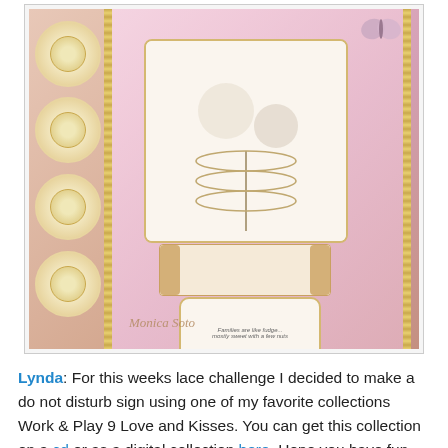[Figure (photo): A handmade scrapbook 'do not disturb' sign with pink floral paper, cream lace doily circles on the left, gold bead border strips, a center card with illustrated characters, a scroll element, a decorative tag with text, and a butterfly embellishment at top right. Watermark reads 'Monica Soto'.]
Lynda: For this weeks lace challenge I decided to make a do not disturb sign using one of my favorite collections Work & Play 9 Love and Kisses. You can get this collection on a cd or as a digital collection here. Hope you have fun with this one Lynda xx